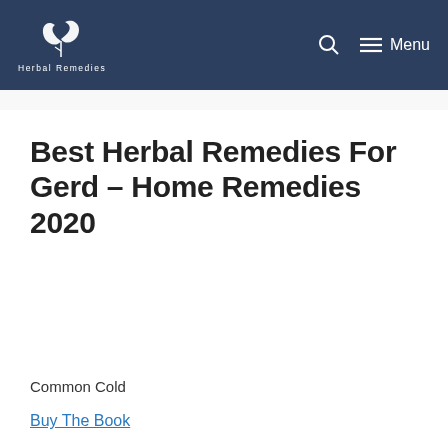Herbal Remedies | Menu
Best Herbal Remedies For Gerd – Home Remedies 2020
Common Cold
Buy The Book